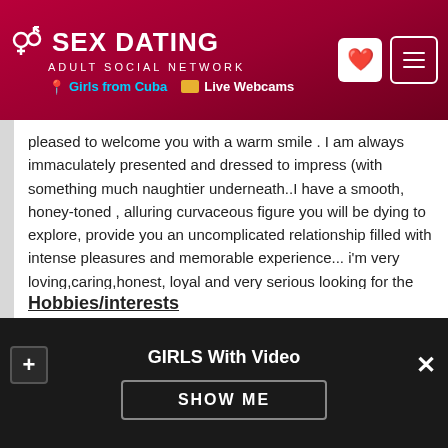SEX DATING ADULT SOCIAL NETWORK | Girls from Cuba | Live Webcams
pleased to welcome you with a warm smile . I am always immaculately presented and dressed to impress (with something much naughtier underneath..I have a smooth, honey-toned , alluring curvaceous figure you will be dying to explore, provide you an uncomplicated relationship filled with intense pleasures and memorable experience... i'm very loving,caring,honest, loyal and very serious looking for the right woman to have a long term relationship leading to something meaningful in the future.I am not here for games and if your looking for money move on.. Best porn clips
Hobbies/interests
GIRLS With Video
SHOW ME